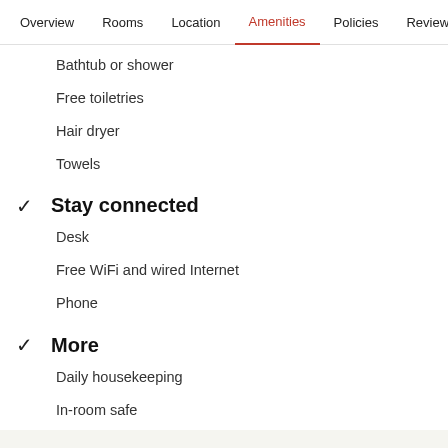Overview  Rooms  Location  Amenities  Policies  Reviews
Bathtub or shower
Free toiletries
Hair dryer
Towels
Stay connected
Desk
Free WiFi and wired Internet
Phone
More
Daily housekeeping
In-room safe
Connecting/adjoining rooms available